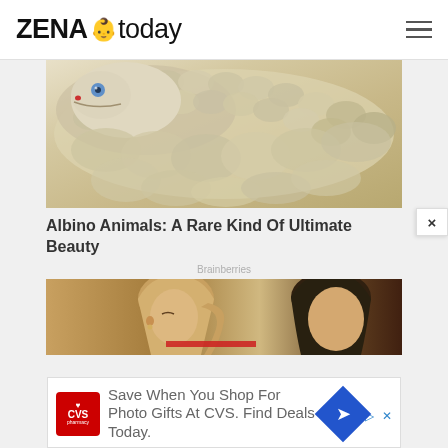ZENA today
[Figure (photo): Close-up photograph of a white albino snake with blue eye, showing detailed scales]
Albino Animals: A Rare Kind Of Ultimate Beauty
Brainberries
[Figure (photo): Partial photo of two people, a woman with blonde hair in ponytail and a man with dark hair]
[Figure (infographic): Advertisement banner: Save When You Shop For Photo Gifts At CVS. Find Deals Today. With CVS Pharmacy logo and navigation arrow icon.]